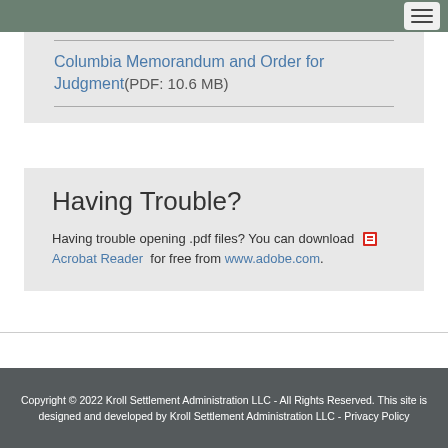Columbia Memorandum and Order for Judgment(PDF: 10.6 MB)
Having Trouble?
Having trouble opening .pdf files? You can download  Acrobat Reader  for free from www.adobe.com.
Copyright © 2022 Kroll Settlement Administration LLC - All Rights Reserved. This site is designed and developed by Kroll Settlement Administration LLC - Privacy Policy